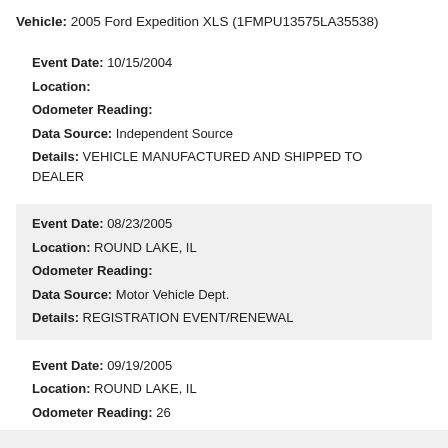Vehicle: 2005 Ford Expedition XLS (1FMPU13575LA35538)
Event Date: 10/15/2004
Location:
Odometer Reading:
Data Source: Independent Source
Details: VEHICLE MANUFACTURED AND SHIPPED TO DEALER
Event Date: 08/23/2005
Location: ROUND LAKE, IL
Odometer Reading:
Data Source: Motor Vehicle Dept.
Details: REGISTRATION EVENT/RENEWAL
Event Date: 09/19/2005
Location: ROUND LAKE, IL
Odometer Reading: 26
Data Source: Motor Vehicle Dept.
Details: TITLE(Title #:X5262656353) (Lien Reported)